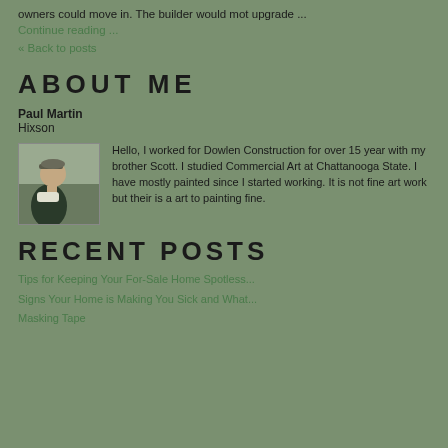owners could move in. The builder would mot upgrade ...
Continue reading ...
« Back to posts
ABOUT ME
Paul Martin
Hixson
[Figure (photo): Profile photo of a person wearing a cap, side profile view, outdoors]
Hello, I worked for Dowlen Construction for over 15 year with my brother Scott. I studied Commercial Art at Chattanooga State. I have mostly painted since I started working. It is not fine art work but their is a art to painting fine.
RECENT POSTS
Tips for Keeping Your For-Sale Home Spotless...
Signs Your Home is Making You Sick and What...
Masking Tape